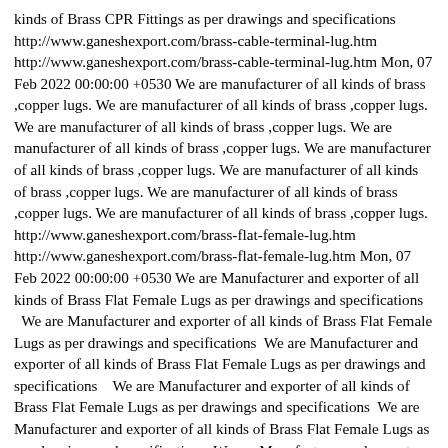kinds of Brass CPR Fittings as per drawings and specifications&nbsp; &nbsp; &nbsp; http://www.ganeshexport.com/brass-cable-terminal-lug.htm http://www.ganeshexport.com/brass-cable-terminal-lug.htm Mon, 07 Feb 2022 00:00:00 +0530 We are manufacturer of all kinds of brass ,copper lugs. We are manufacturer of all kinds of brass ,copper lugs. We are manufacturer of all kinds of brass ,copper lugs. We are manufacturer of all kinds of brass ,copper lugs. We are manufacturer of all kinds of brass ,copper lugs. We are manufacturer of all kinds of brass ,copper lugs. We are manufacturer of all kinds of brass ,copper lugs. We are manufacturer of all kinds of brass ,copper lugs. http://www.ganeshexport.com/brass-flat-female-lug.htm http://www.ganeshexport.com/brass-flat-female-lug.htm Mon, 07 Feb 2022 00:00:00 +0530 We are Manufacturer and exporter of all kinds of Brass Flat Female Lugs as per drawings and specifications&nbsp; &nbsp; We are Manufacturer and exporter of all kinds of Brass Flat Female Lugs as per drawings and specifications&nbsp; We are Manufacturer and exporter of all kinds of Brass Flat Female Lugs as per drawings and specifications&nbsp; &nbsp; We are Manufacturer and exporter of all kinds of Brass Flat Female Lugs as per drawings and specifications&nbsp; We are Manufacturer and exporter of all kinds of Brass Flat Female Lugs as per drawings and specifications&nbsp; We are Manufacturer and exporter of all